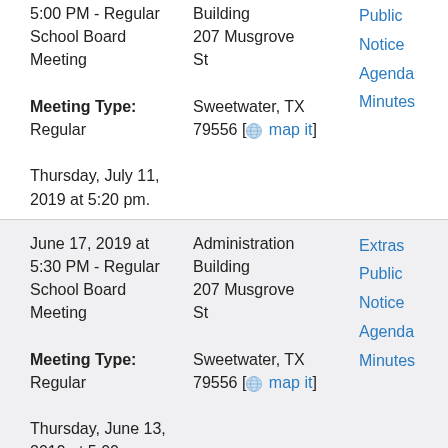5:00 PM - Regular School Board Meeting
Meeting Type: Regular
Thursday, July 11, 2019 at 5:20 pm.
Administration Building 207 Musgrove St Sweetwater, TX 79556 [map it]
Public Notice
Agenda
Minutes
June 17, 2019 at 5:30 PM - Regular School Board Meeting
Meeting Type: Regular
Thursday, June 13, 2019 at 5:00 p.m.
Administration Building 207 Musgrove St Sweetwater, TX 79556 [map it]
Extras
Public Notice
Agenda
Minutes
June 10, 2019 at
Administration
Public Notice